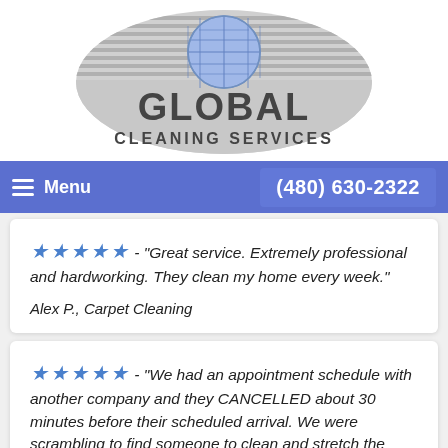[Figure (logo): Global Cleaning Services logo: globe with horizontal lines on top half, metallic-style text reading GLOBAL CLEANING SERVICES below]
Menu   (480) 630-2322
★★★★★ - "Great service. Extremely professional and hardworking. They clean my home every week." Alex P., Carpet Cleaning
★★★★★ - "We had an appointment schedule with another company and they CANCELLED about 30 minutes before their scheduled arrival. We were scrambling to find someone to clean and stretch the